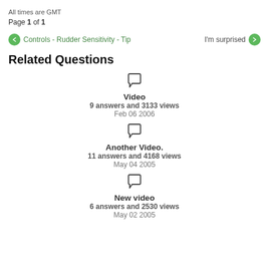All times are GMT
Page 1 of 1
Controls - Rudder Sensitivity - Tip
I'm surprised
Related Questions
Video
9 answers and 3133 views
Feb 06 2006
Another Video.
11 answers and 4168 views
May 04 2005
New video
6 answers and 2530 views
May 02 2005